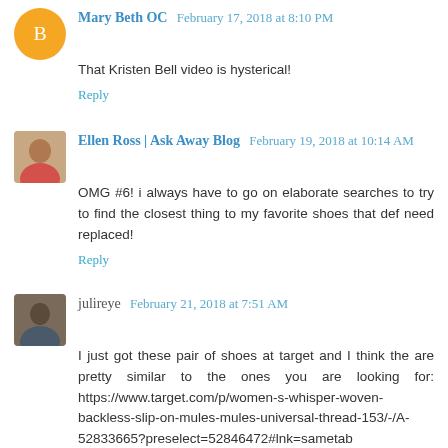Mary Beth OC  February 17, 2018 at 8:10 PM
That Kristen Bell video is hysterical!
Reply
Ellen Ross | Ask Away Blog  February 19, 2018 at 10:14 AM
OMG #6! i always have to go on elaborate searches to try to find the closest thing to my favorite shoes that def need replaced!
Reply
julireye  February 21, 2018 at 7:51 AM
I just got these pair of shoes at target and I think the are pretty similar to the ones you are looking for: https://www.target.com/p/women-s-whisper-woven-backless-slip-on-mules-mules-universal-thread-153/-/A-52833665?preselect=52846472#lnk=sametab
Reply